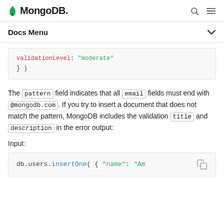MongoDB [logo] | search | menu
Docs Menu
[Figure (screenshot): Code snippet showing validationLevel: "moderate" } )]
The pattern field indicates that all email fields must end with @mongodb.com. If you try to insert a document that does not match the pattern, MongoDB includes the validation title and description in the error output:
Input:
[Figure (screenshot): Code snippet showing db.users.insertOne( { "name": "Am...]